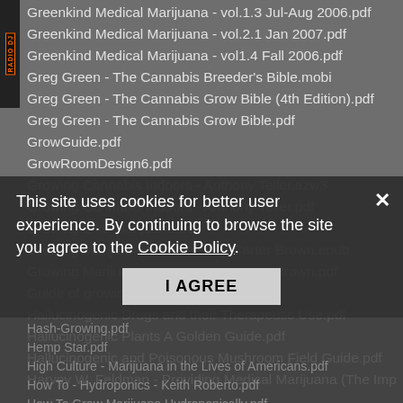Greenkind Medical Marijuana - vol.1.3 Jul-Aug 2006.pdf
Greenkind Medical Marijuana - vol.2.1 Jan 2007.pdf
Greenkind Medical Marijuana - vol1.4 Fall 2006.pdf
Greg Green - The Cannabis Breeder's Bible.mobi
Greg Green - The Cannabis Grow Bible (4th Edition).pdf
Greg Green - The Cannabis Grow Bible.pdf
GrowGuide.pdf
GrowRoomDesign6.pdf
Growing Cannabis Indoors - Anthony Teller.azw3
Growing Cannabis Indoors - Anthony Teller.pdf
Growing Elite Marijuana.pdf
Growing Marijuana Indoors - Jay Carter Brown.epub
Growing Marijuana Indoors - Jay Carter Brown.pdf
Guide of growing Marijuana.pdf
Hallucinogenic Drugs and their Therapeutic Use.pdf
Hallucinogenic Plants A Golden Guide.pdf
Hallucinogenic and Poisonous Mushroom Field Guide.pdf
Harvey W. Feldman - Providing Medical Marijuana (The Importance of Cannabis Club).pdf
Hash-Growing.pdf
Hemp Star.pdf
High Culture - Marijuana in the Lives of Americans.pdf
How To - Hydroponics - Keith Roberto.pdf
How To Grow Marijuana Hydroponically.pdf
How To Grow Marijuana Hydroponically.txt
This site uses cookies for better user experience. By continuing to browse the site you agree to the Cookie Policy.
I AGREE